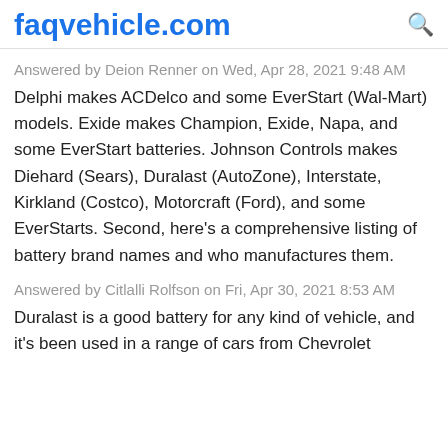faqvehicle.com
Answered by Deion Renner on Wed, Apr 28, 2021 9:48 AM
Delphi makes ACDelco and some EverStart (Wal-Mart) models. Exide makes Champion, Exide, Napa, and some EverStart batteries. Johnson Controls makes Diehard (Sears), Duralast (AutoZone), Interstate, Kirkland (Costco), Motorcraft (Ford), and some EverStarts. Second, here's a comprehensive listing of battery brand names and who manufactures them.
Answered by Citlalli Rolfson on Fri, Apr 30, 2021 8:53 AM
Duralast is a good battery for any kind of vehicle, and it's been used in a range of cars from Chevrolet